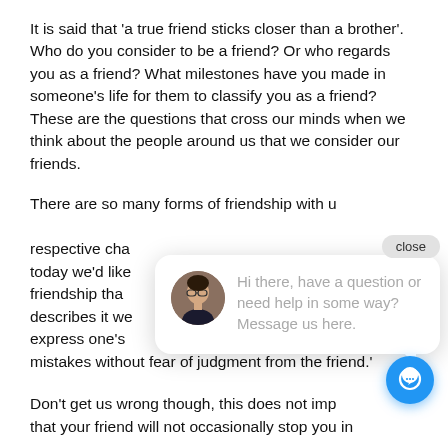It is said that 'a true friend sticks closer than a brother'. Who do you consider to be a friend? Or who regards you as a friend? What milestones have you made in someone's life for them to classify you as a friend? These are the questions that cross our minds when we think about the people around us that we consider our friends.
There are so many forms of friendship with their respective characteristics and today we'd like to explore a type of friendship that... describes it well... express one's mistakes without fear of judgment from the friend.'
[Figure (screenshot): Chat popup overlay with close button, avatar of a woman with glasses, and message text: 'Hi there, have a question or need help in some way? Message us here.' with a blue circular chat button in the bottom right corner.]
Don't get us wrong though, this does not imply that your friend will not occasionally stop you in